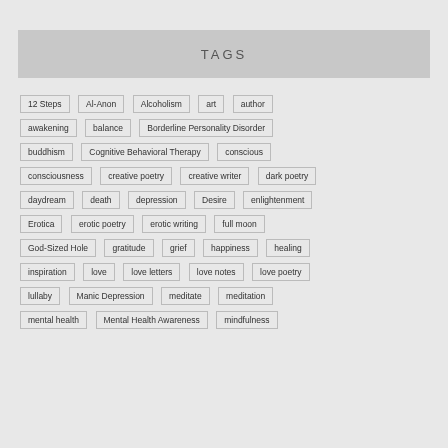TAGS
12 Steps
Al-Anon
Alcoholism
art
author
awakening
balance
Borderline Personality Disorder
buddhism
Cognitive Behavioral Therapy
conscious
consciousness
creative poetry
creative writer
dark poetry
daydream
death
depression
Desire
enlightenment
Erotica
erotic poetry
erotic writing
full moon
God-Sized Hole
gratitude
grief
happiness
healing
inspiration
love
love letters
love notes
love poetry
lullaby
Manic Depression
meditate
meditation
mental health
Mental Health Awareness
mindfulness